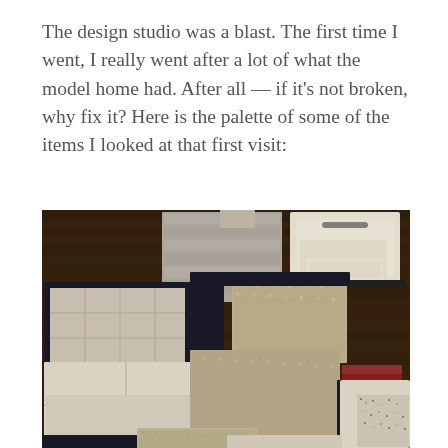The design studio was a blast. The first time I went, I really went after a lot of what the model home had. After all — if it’s not broken, why fix it? Here is the palette of some of the items I looked at that first visit:
[Figure (photo): Overhead photo of design studio material samples laid out on a dark wood floor. Samples include light grey wood-look flooring planks, cream/white shaker cabinet door samples with hardware, beige/tan carpet swatches, large-format light beige tile samples with grout lines, and small granite/stone samples in the bottom right corner.]